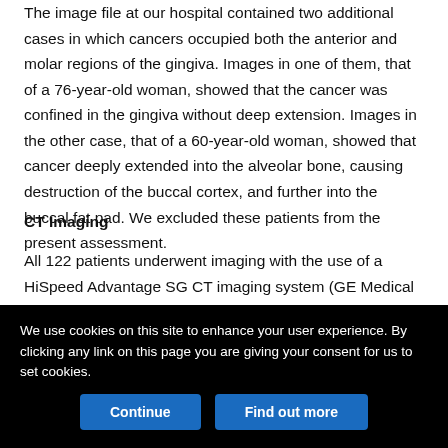The image file at our hospital contained two additional cases in which cancers occupied both the anterior and molar regions of the gingiva. Images in one of them, that of a 76-year-old woman, showed that the cancer was confined in the gingiva without deep extension. Images in the other case, that of a 60-year-old woman, showed that cancer deeply extended into the alveolar bone, causing destruction of the buccal cortex, and further into the buccal fat pad. We excluded these patients from the present assessment.
CT Imaging
All 122 patients underwent imaging with the use of a HiSpeed Advantage SG CT imaging system (GE Medical Systems, Milwaukee, WI). The scanning orientation was parallel to the
We use cookies on this site to enhance your user experience. By clicking any link on this page you are giving your consent for us to set cookies.